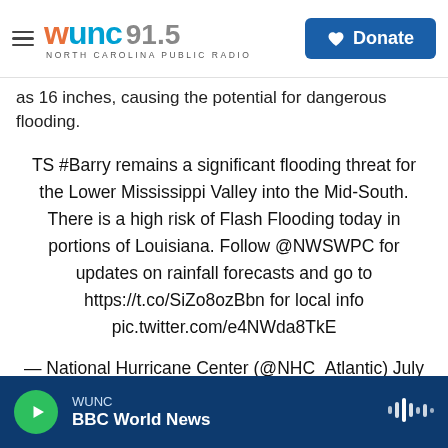WUNC 91.5 NORTH CAROLINA PUBLIC RADIO | Donate
as 16 inches, causing the potential for dangerous flooding.
TS #Barry remains a significant flooding threat for the Lower Mississippi Valley into the Mid-South. There is a high risk of Flash Flooding today in portions of Louisiana. Follow @NWSWPC for updates on rainfall forecasts and go to https://t.co/SiZo8ozBbn for local info pic.twitter.com/e4NWda8TkE
— National Hurricane Center (@NHC_Atlantic) July 14, 2019
WUNC BBC World News